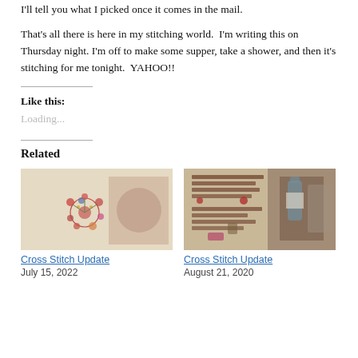I'll tell you what I picked once it comes in the mail.
That's all there is here in my stitching world.  I'm writing this on Thursday night. I'm off to make some supper, take a shower, and then it's stitching for me tonight.  YAHOO!!
Like this:
Loading...
Related
[Figure (photo): Cross stitch embroidery on fabric showing floral wreath design]
Cross Stitch Update
July 15, 2022
[Figure (photo): Cross stitch sampler with text and decorative motifs on linen]
Cross Stitch Update
August 21, 2020